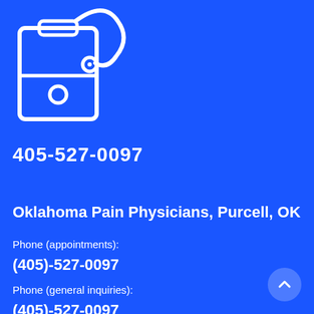[Figure (illustration): Medical icon: clipboard with stethoscope, white outline on blue background]
405-527-0097
Oklahoma Pain Physicians, Purcell, OK
Phone (appointments):
(405)-527-0097
Phone (general inquiries):
(405)-527-0097